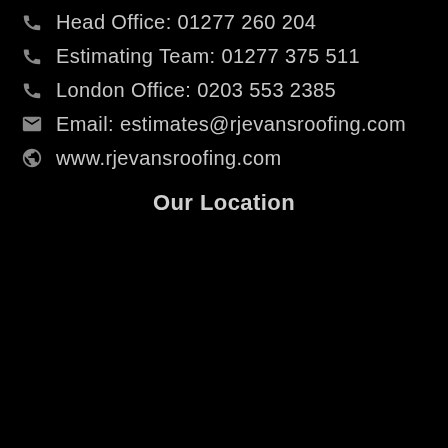Head Office: 01277 260 204
Estimating Team: 01277 375 511
London Office: 0203 553 2385
Email: estimates@rjevansroofing.com
www.rjevansroofing.com
Our Location